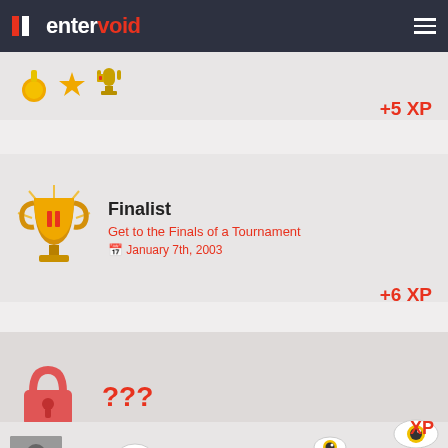entervoid
[Figure (illustration): Partial badge card at top with medal/trophy icons]
+5 XP
[Figure (illustration): Finalist achievement card with gold trophy icon]
Finalist
Get to the Finals of a Tournament
January 7th, 2003
+6 XP
[Figure (illustration): Locked achievement card with red padlock icon showing ???]
??? XP
[Figure (illustration): Bookmarking For Later achievement card - partially visible]
Bookmarking For Later
Create a Playlist